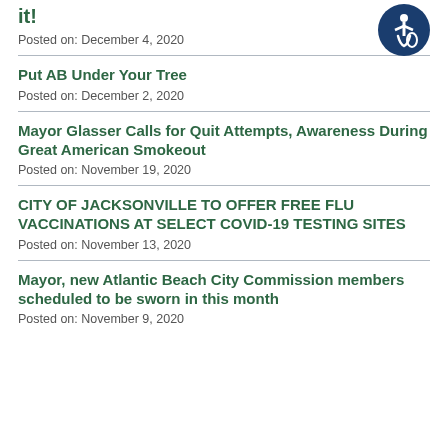it!
Posted on: December 4, 2020
Put AB Under Your Tree
Posted on: December 2, 2020
Mayor Glasser Calls for Quit Attempts, Awareness During Great American Smokeout
Posted on: November 19, 2020
CITY OF JACKSONVILLE TO OFFER FREE FLU VACCINATIONS AT SELECT COVID-19 TESTING SITES
Posted on: November 13, 2020
Mayor, new Atlantic Beach City Commission members scheduled to be sworn in this month
Posted on: November 9, 2020